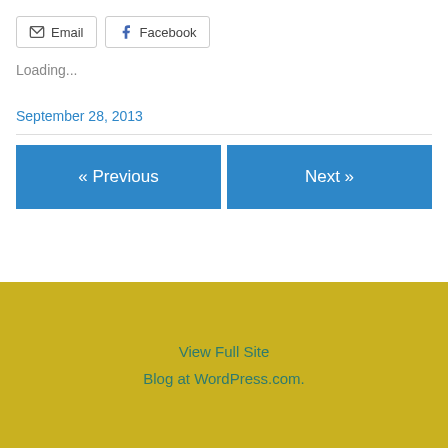Email  Facebook
Loading...
September 28, 2013
« Previous
Next »
View Full Site
Blog at WordPress.com.